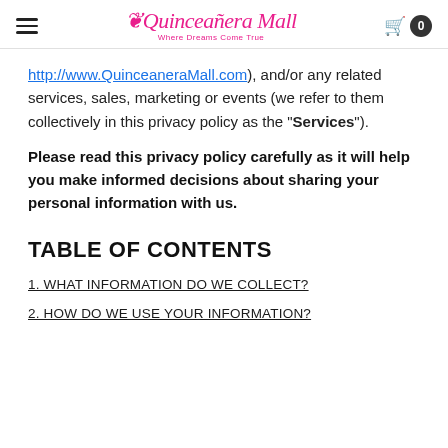Quinceañera Mall — Where Dreams Come True | Cart: 0
http://www.QuinceaneraMall.com), and/or any related services, sales, marketing or events (we refer to them collectively in this privacy policy as the "Services").
Please read this privacy policy carefully as it will help you make informed decisions about sharing your personal information with us.
TABLE OF CONTENTS
1. WHAT INFORMATION DO WE COLLECT?
2. HOW DO WE USE YOUR INFORMATION?